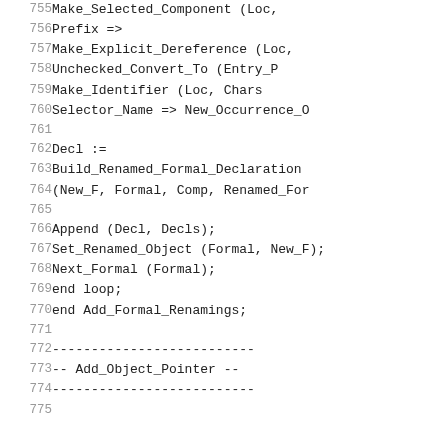Code listing lines 755-775 showing Ada source code for Build_Renamed_Formal_Declaration, Append, Set_Renamed_Object, Next_Formal, end loop, end Add_Formal_Renamings, and Add_Object_Pointer comment block.